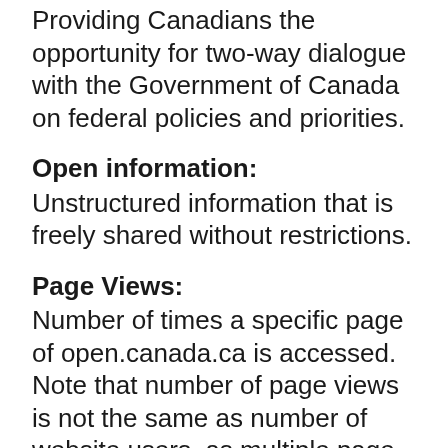Providing Canadians the opportunity for two-way dialogue with the Government of Canada on federal policies and priorities.
Open information:
Unstructured information that is freely shared without restrictions.
Page Views:
Number of times a specific page of open.canada.ca is accessed. Note that number of page views is not the same as number of website users, as multiple page views can come from the same individual.
Public workshops:
Organized and conducted across Canada by TBS officials andlic... (continues)